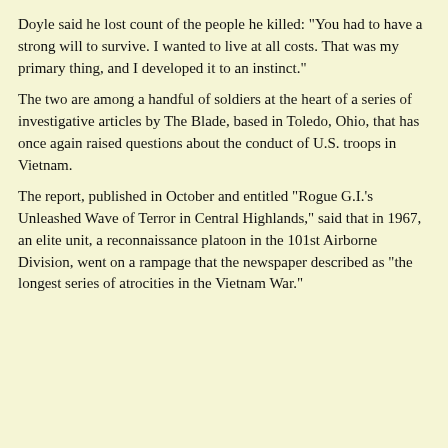Doyle said he lost count of the people he killed: "You had to have a strong will to survive. I wanted to live at all costs. That was my primary thing, and I developed it to an instinct."
The two are among a handful of soldiers at the heart of a series of investigative articles by The Blade, based in Toledo, Ohio, that has once again raised questions about the conduct of U.S. troops in Vietnam.
The report, published in October and entitled "Rogue G.I.'s Unleashed Wave of Terror in Central Highlands," said that in 1967, an elite unit, a reconnaissance platoon in the 101st Airborne Division, went on a rampage that the newspaper described as "the longest series of atrocities in the Vietnam War."